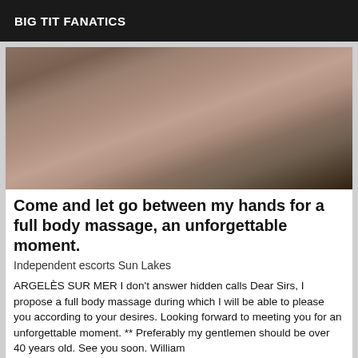BIG TIT FANATICS
[Figure (photo): Photograph showing a person from behind/side, cropped at torso level, wearing minimal clothing, indoor setting with window and stacked items visible on left]
Come and let go between my hands for a full body massage, an unforgettable moment.
Independent escorts Sun Lakes
ARGELÈS SUR MER I don't answer hidden calls Dear Sirs, I propose a full body massage during which I will be able to please you according to your desires. Looking forward to meeting you for an unforgettable moment. ** Preferably my gentlemen should be over 40 years old. See you soon. William